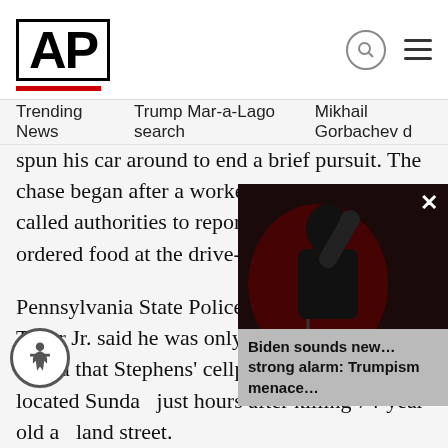AP
Trending News   Trump Mar-a-Lago search   Mikhail Gorbachev d
spun his car around to end a brief pursuit. The chase began after a worker at a McDonald's called authorities to report that Stephens had ordered food at the drive-thru.
Pennsylvania State Police Major William Teper Jr. said he was only aware through social media that Stephens' cellphone had been located Sunday just hours after killing 74-year-old a…land street.
[Figure (photo): Embedded video overlay showing Biden speaking at a podium, with caption 'Biden sounds new... strong alarm: Trumpism menace...' partially obscuring the article text]
Teper says investigators are trying Stephens' movements in the area.
An autopsy is planned for Wednesd